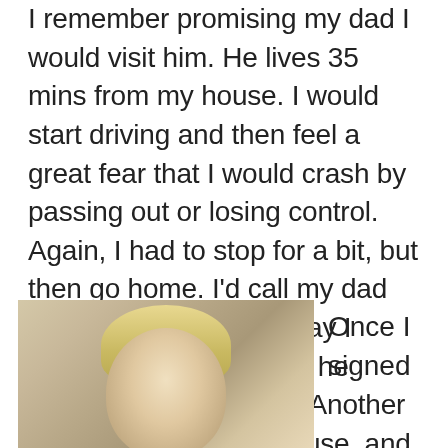I remember promising my dad I would visit him. He lives 35 mins from my house. I would start driving and then feel a great fear that I would crash by passing out or losing control. Again, I had to stop for a bit, but then go home. I'd call my dad when I got home and say I couldn't make it. Really he didn't fully understand. Another time I made it to his house, and only five minutes after arrival had to leave and go home.
[Figure (photo): Partial photo of a person with blonde hair, cropped showing top of head and forehead]
Once I signed